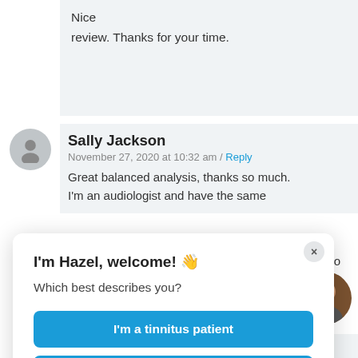Nice
review. Thanks for your time.
Sally Jackson
November 27, 2020 at 10:32 am / Reply
Great balanced analysis, thanks so much.
I'm an audiologist and have the same
I'm Hazel, welcome! 👋
Which best describes you?
I'm a tinnitus patient
I'm a tinnitus researcher
Very helpful and succinct summary Hazel.